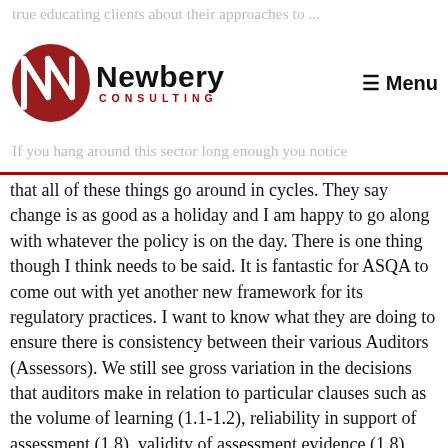true educating clients about their approaches to their regulatory ... only need to bring some of these ... into the light!
[Figure (logo): Newbery Consulting logo — stylized red N monogram with 'Newbery' in bold black and 'CONSULTING' in red below]
If you hang around this sector long enough you notice that all of these things go around in cycles. They say change is as good as a holiday and I am happy to go along with whatever the policy is on the day. There is one thing though I think needs to be said. It is fantastic for ASQA to come out with yet another new framework for its regulatory practices. I want to know what they are doing to ensure there is consistency between their various Auditors (Assessors). We still see gross variation in the decisions that auditors make in relation to particular clauses such as the volume of learning (1.1-1.2), reliability in support of assessment (1.8), validity of assessment evidence (1.8), vocational competency of trainers (1.13) and recognition of prior learning (1.8). I see no improvement in the audit consistency or reliability of ASQA auditors. It too often still comes down to the auditor's own experience and interpretation. If you consider that; in light of, the blurry line that now